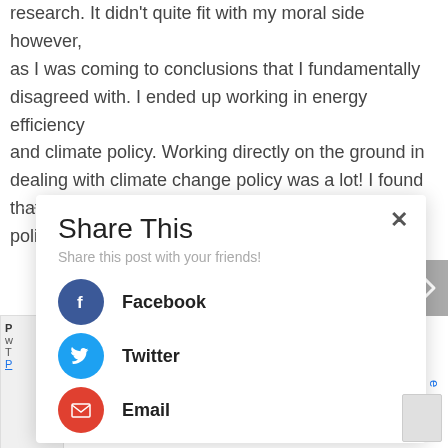research. It didn't quite fit with my moral side however, as I was coming to conclusions that I fundamentally disagreed with. I ended up working in energy efficiency and climate policy. Working directly on the ground in dealing with climate change policy was a lot! I found that there was a lot of politics involved in climate policy, on both sides. The urgency of the issue was
Share This
Share this post with your friends!
Facebook
Twitter
Email